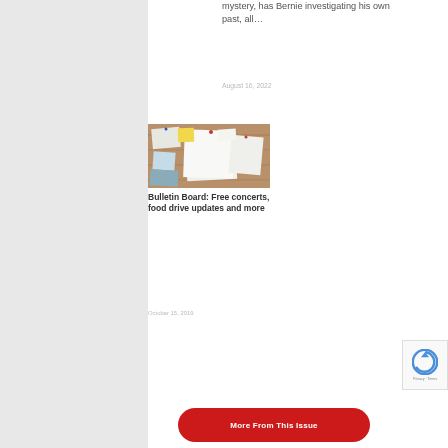mystery, has Bernie investigating his own past, all...
August 16, 2022
[Figure (photo): A bulletin board covered with papers, notes, photographs, and sticky notes pinned to a cork board surface.]
Bulletin Board: Free concerts, food drive updates and more
October 15, 2019
More From This Issue